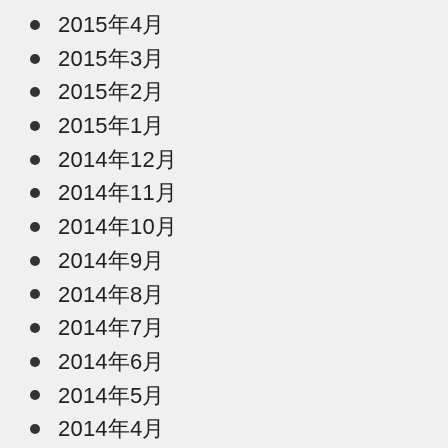2015年4月
2015年3月
2015年2月
2015年1月
2014年12月
2014年11月
2014年10月
2014年9月
2014年8月
2014年7月
2014年6月
2014年5月
2014年4月
2014年3月
2014年2月
2014年1月